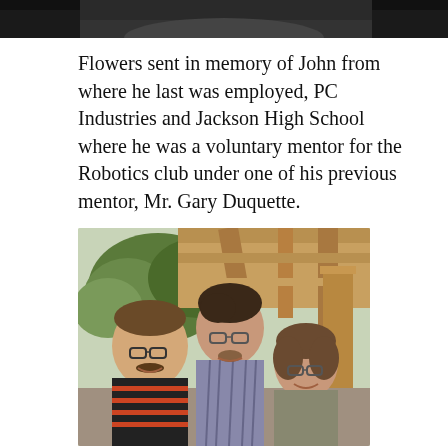[Figure (photo): Top portion of a photo, dark/cropped, visible at the top of the page]
Flowers sent in memory of John from where he last was employed, PC Industries and Jackson High School where he was a voluntary mentor for the Robotics club under one of his previous mentor, Mr. Gary Duquette.
[Figure (photo): A photo of three people smiling together outdoors under a wooden pergola structure with trees in the background. Left: middle-aged man with glasses and striped shirt. Center: tall young man with glasses. Right: woman with glasses.]